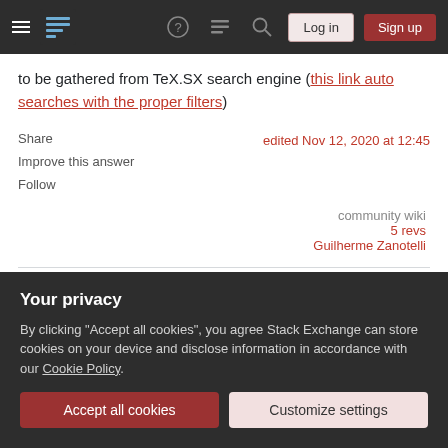Navigation bar with hamburger menu, logo, help, chat, search icons, Log in and Sign up buttons
to be gathered from TeX.SX search engine (this link auto searches with the proper filters)
Share  |  Improve this answer  |  Follow
edited Nov 12, 2020 at 12:45
community wiki
5 revs
Guilherme Zanotelli
The link with all the contributions above is dead. Any
Your privacy
By clicking "Accept all cookies", you agree Stack Exchange can store cookies on your device and disclose information in accordance with our Cookie Policy.
Accept all cookies  Customize settings
archive/graphics/pgf/contrib – Guilherme Zanotelli Nov